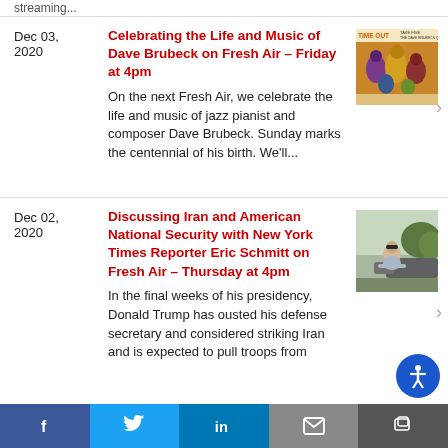streaming...
Dec 03, 2020
Celebrating the Life and Music of Dave Brubeck on Fresh Air – Friday at 4pm
On the next Fresh Air, we celebrate the life and music of jazz pianist and composer Dave Brubeck. Sunday marks the centennial of his birth. We'll...
[Figure (illustration): Album cover for Time Out / Take Five by The Dave Brubeck Quartet]
Dec 02, 2020
Discussing Iran and American National Security with New York Times Reporter Eric Schmitt on Fresh Air – Thursday at 4pm
In the final weeks of his presidency, Donald Trump has ousted his defense secretary and considered striking Iran and is expected to pull troops from
[Figure (photo): Photograph of a man with glasses leaning on a vehicle outdoors]
f   Twitter   in   Email   Share